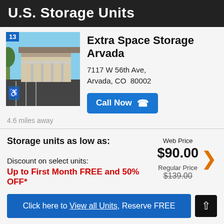U.S. Storage Units
Extra Space Storage Arvada
7117 W 56th Ave, Arvada, CO  80002
Call Now
4.6 miles away
Storage units as low as:
Web Price $90.00
Discount on select units:
Regular Price $139.00
Up to First Month FREE and 50% OFF*
Click here to View all Units, Reserve FREE
Public Storage